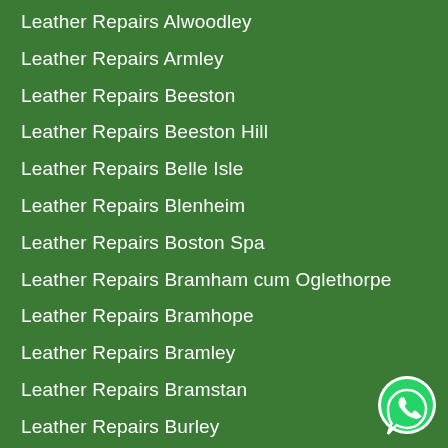Leather Repairs Alwoodley
Leather Repairs Armley
Leather Repairs Beeston
Leather Repairs Beeston Hill
Leather Repairs Belle Isle
Leather Repairs Blenheim
Leather Repairs Boston Spa
Leather Repairs Bramham cum Oglethorpe
Leather Repairs Bramhope
Leather Repairs Bramley
Leather Repairs Bramstan
Leather Repairs Burley
Leather Repairs Burmantofts
Leather Repairs Buslingthorpe
Leather Repairs Calverley
Leather Repairs Carlton